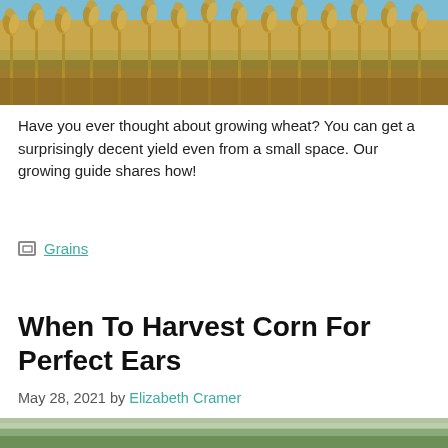[Figure (photo): Close-up photo of golden wheat stalks against a blue sky]
Have you ever thought about growing wheat? You can get a surprisingly decent yield even from a small space. Our growing guide shares how!
Grains
When To Harvest Corn For Perfect Ears
May 28, 2021 by Elizabeth Cramer
[Figure (photo): Partial photo of corn at the bottom of the page]